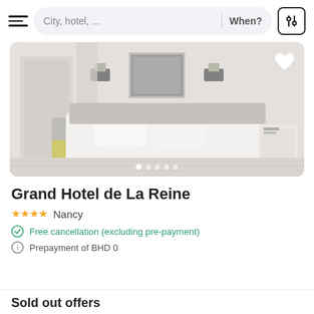[Figure (screenshot): Hotel booking app navigation bar with hamburger menu, search box showing 'City, hotel, ...' placeholder, 'When?' text, and a filter icon button]
[Figure (photo): Hotel room photo showing a large bed with white linens and yellow throw, wall sconces, framed artwork, and bedside table]
Grand Hotel de La Reine
★★★★ Nancy
Free cancellation (excluding pre-payment)
Prepayment of BHD 0
Sold out offers